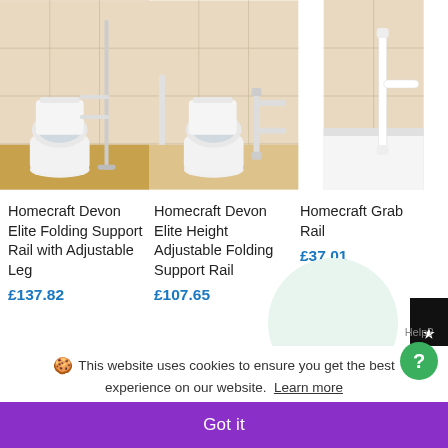[Figure (photo): Three product images in a row showing bathroom grab rails and support rails installed near toilets and bath. Left: toilet with a freestanding support rail with adjustable leg. Middle: toilet with a height-adjustable folding support rail. Right: bath area with a white grab rail.]
Homecraft Devon Elite Folding Support Rail with Adjustable Leg
£137.82
Homecraft Devon Elite Height Adjustable Folding Support Rail
£107.65
Homecraft Grab Rail
£37.01
★ JUDGE.ME REVIEWS
This website uses cookies to ensure you get the best experience on our website. Learn more
Got it